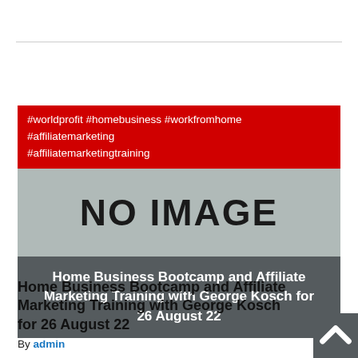RELATED VIDEOS
[Figure (other): Card image with red hashtag banner showing #worldprofit #homebusiness #workfromhome #affiliatemarketing #affiliatemarketingtraining, a gray NO IMAGE placeholder, and a dark gray title bar reading: Home Business Bootcamp and Affiliate Marketing Training with George Kosch for 26 August 22]
Home Business Bootcamp and Affiliate Marketing Training with George Kosch for 26 August 22
By admin